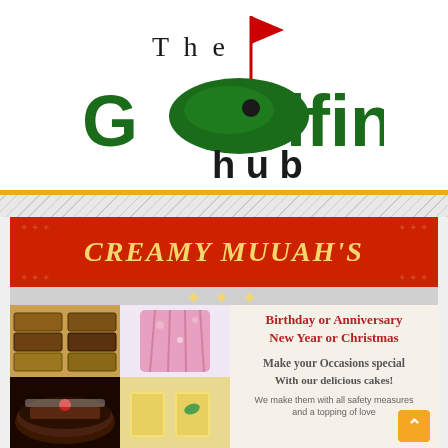[Figure (logo): The Golfing Hub logo: dark green text 'The' above large 'Golfing' with the 'o' replaced by a golf green/hole graphic with a red flag on a pole, and 'hub' in smaller text below]
[Figure (infographic): Creamy Muuah's advertisement banner: red background with yellow italic text 'CREAMY MUUAH'S', food photos on left (baked goods, green cake, pink dress/crepes, chocolate cake, yellow cake), right side white background with red/gray text: 'Birthday or Anniversary', 'New Year or Christmas', 'Make your Occasions special', 'With our delicious cakes!', 'We make them with all safety measures and a topping of love']